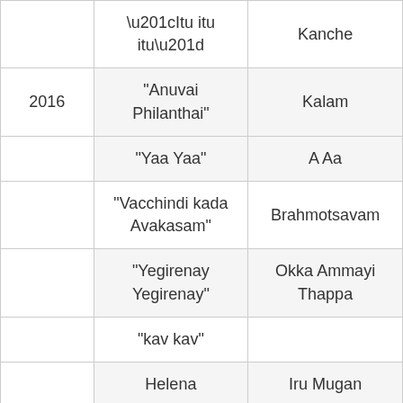| Year | Song | Film |
| --- | --- | --- |
|  | “Itu itu itu” | Kanche |
| 2016 | “Anuvai Philanthai” | Kalam |
|  | “Yaa Yaa” | A Aa |
|  | “Vacchindi kada Avakasam” | Brahmotsavam |
|  | “Yegirenay Yegirenay” | Okka Ammayi Thappa |
|  | “kav kav” |  |
|  | Helena | Iru Mugan |
|  |  |  |